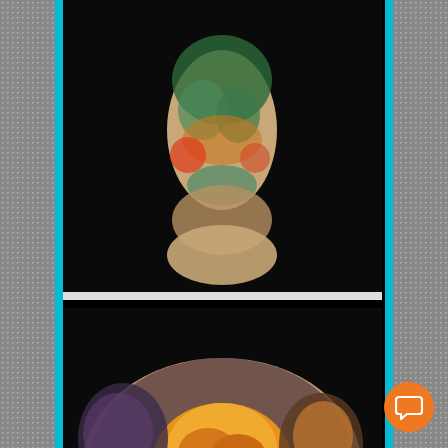[Figure (photo): Screenshot of a tattoo artist website showing heavily tattooed body. Three photos visible: back with full-body tattoo, chest with colorful tattoo artwork, and arm with skeletal tattoo. A live chat popup is overlaid showing an avatar and welcome message. A 'close' button and orange chat button are also visible.]
close
Welcome! If there is any way I can help, just let me know here.